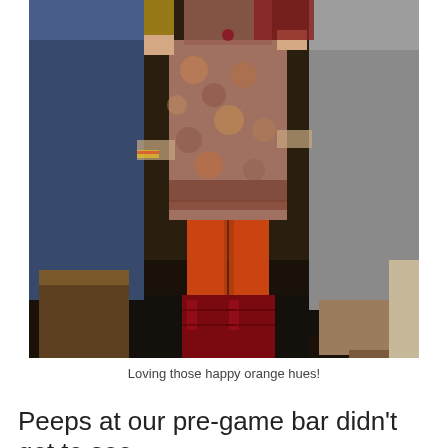[Figure (photo): A woman wearing a floral patterned dress, orange tights, and dark red cowboy boots, standing among a crowd. Other people's legs visible on either side. Taken indoors, likely at a bar or party.]
Loving those happy orange hues!
Peeps at our pre-game bar didn't get to see